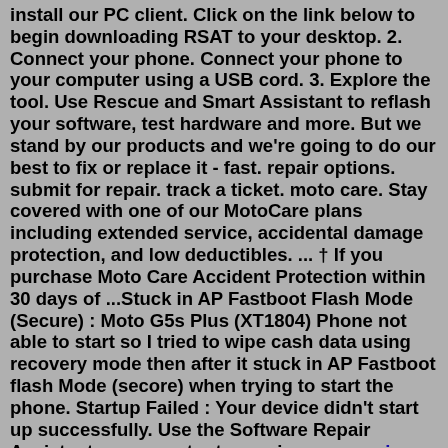install our PC client. Click on the link below to begin downloading RSAT to your desktop. 2. Connect your phone. Connect your phone to your computer using a USB cord. 3. Explore the tool. Use Rescue and Smart Assistant to reflash your software, test hardware and more. But we stand by our products and we're going to do our best to fix or replace it - fast. repair options. submit for repair. track a ticket. moto care. Stay covered with one of our MotoCare plans including extended service, accidental damage protection, and low deductibles. ... † If you purchase Moto Care Accident Protection within 30 days of ...Stuck in AP Fastboot Flash Mode (Secure) : Moto G5s Plus (XT1804) Phone not able to start so I tried to wipe cash data using recovery mode then after it stuck in AP Fastboot flash Mode (secore) when trying to start the phone. Startup Failed : Your device didn't start up successfully. Use the Software Repair Assistant on computer to repair your ... swing drawingxa